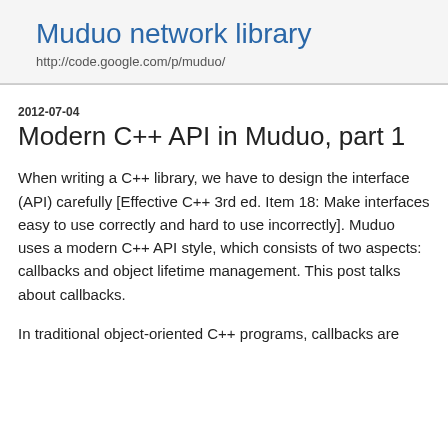Muduo network library
http://code.google.com/p/muduo/
2012-07-04
Modern C++ API in Muduo, part 1
When writing a C++ library, we have to design the interface (API) carefully [Effective C++ 3rd ed. Item 18: Make interfaces easy to use correctly and hard to use incorrectly]. Muduo uses a modern C++ API style, which consists of two aspects: callbacks and object lifetime management. This post talks about callbacks.
In traditional object-oriented C++ programs, callbacks are